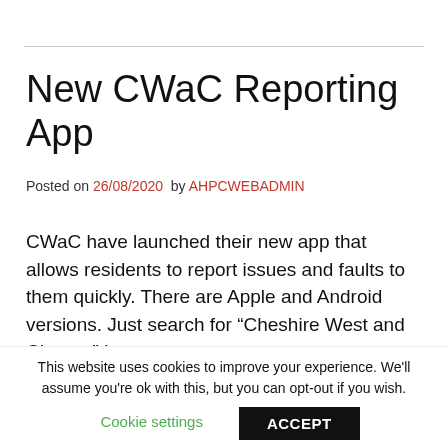New CWaC Reporting App
Posted on 26/08/2020  by AHPCWEBADMIN
CWaC have launched their new app that allows residents to report issues and faults to them quickly. There are Apple and Android versions. Just search for “Cheshire West and Chester” in your app store.
[Figure (screenshot): Mobile phone status bar showing BT WiFiCall signal, WiFi icon, time 18:42, and battery at 17%]
This website uses cookies to improve your experience. We’ll assume you’re ok with this, but you can opt-out if you wish.
Cookie settings   ACCEPT